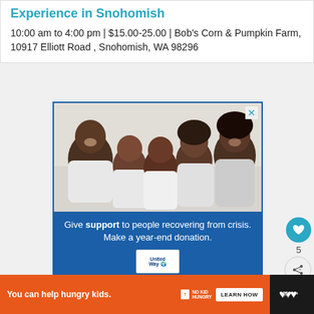Experience in Snohomish
10:00 am to 4:00 pm | $15.00-25.00 | Bob's Corn & Pumpkin Farm, 10917 Elliott Road , Snohomish, WA 98296
[Figure (photo): Advertisement: United Way donation appeal. Shows a family of five (father, mother, and three children) smiling together in white clothing against a light background. Below the photo: 'Give support to people recovering from crisis. Make a year-end donation.' with United Way logo.]
5
WHAT'S NEXT → 7 design ideas from NW...
[Figure (photo): Small circular thumbnail image of a garden/plants scene for 'What's Next' recommendation widget.]
You can help hungry kids. NO KID HUNGRY LEARN HOW